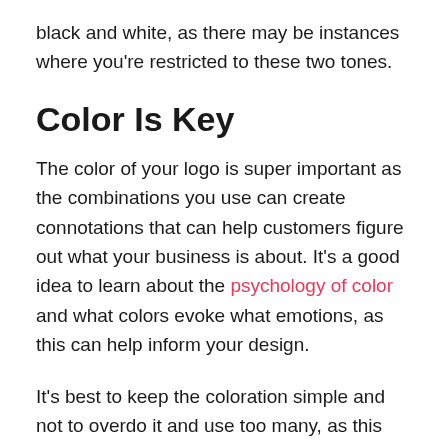black and white, as there may be instances where you're restricted to these two tones.
Color Is Key
The color of your logo is super important as the combinations you use can create connotations that can help customers figure out what your business is about. It's a good idea to learn about the psychology of color and what colors evoke what emotions, as this can help inform your design.
It's best to keep the coloration simple and not to overdo it and use too many, as this can make it difficult to see. Stick to under four colors and don't be scared to use different shades of the same color to create subtle contrasts within your logo.